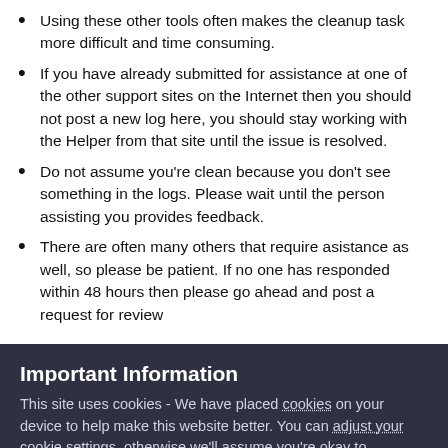Using these other tools often makes the cleanup task more difficult and time consuming.
If you have already submitted for assistance at one of the other support sites on the Internet then you should not post a new log here, you should stay working with the Helper from that site until the issue is resolved.
Do not assume you're clean because you don't see something in the logs. Please wait until the person assisting you provides feedback.
There are often many others that require asistance as well, so please be patient. If no one has responded within 48 hours then please go ahead and post a request for review
Important Information
This site uses cookies - We have placed cookies on your device to help make this website better. You can adjust your cookie settings, otherwise we'll assume you're okay to continue.
✓  I accept